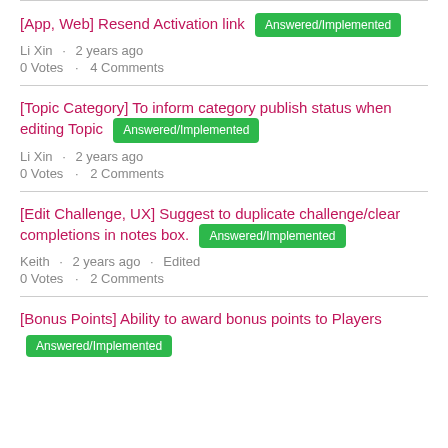[App, Web] Resend Activation link | Answered/Implemented | Li Xin · 2 years ago | 0 Votes · 4 Comments
[Topic Category] To inform category publish status when editing Topic | Answered/Implemented | Li Xin · 2 years ago | 0 Votes · 2 Comments
[Edit Challenge, UX] Suggest to duplicate challenge/clear completions in notes box. | Answered/Implemented | Keith · 2 years ago · Edited | 0 Votes · 2 Comments
[Bonus Points] Ability to award bonus points to Players | Answered/Implemented